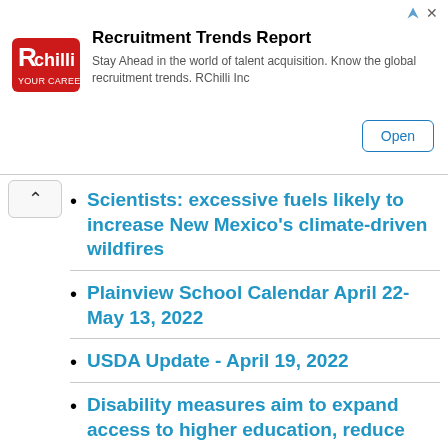[Figure (logo): RChilli logo - red rounded rectangle with white R and chilli text]
Recruitment Trends Report
Stay Ahead in the world of talent acquisition. Know the global recruitment trends. RChilli Inc
Open
Scientists: excessive fuels likely to increase New Mexico's climate-driven wildfires
Plainview School Calendar April 22-May 13, 2022
USDA Update - April 19, 2022
Disability measures aim to expand access to higher education, reduce poverty